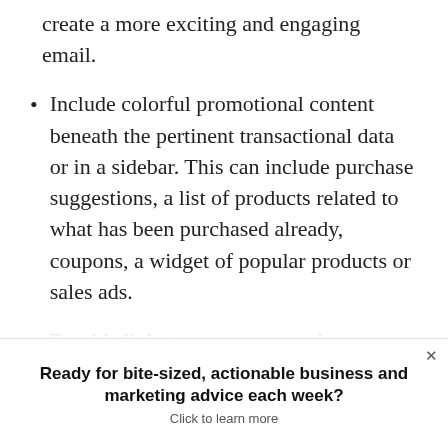create a more exciting and engaging email.
Include colorful promotional content beneath the pertinent transactional data or in a sidebar. This can include purchase suggestions, a list of products related to what has been purchased already, coupons, a widget of popular products or sales ads.
Provide links to company services, especially support and
Ready for bite-sized, actionable business and marketing advice each week?
Click to learn more